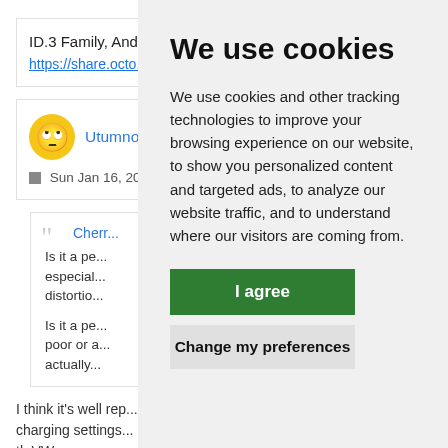ID.3 Family, Andoy...
https://share.octo...
Utumno •
Sun Jan 16, 2022
Cherr... Is it a pe... especial... distortio...
Is it a pe... poor or a... actually...
I think it's well rep... charging settings... th VW...
We use cookies
We use cookies and other tracking technologies to improve your browsing experience on our website, to show you personalized content and targeted ads, to analyze our website traffic, and to understand where our visitors are coming from.
I agree
Change my preferences